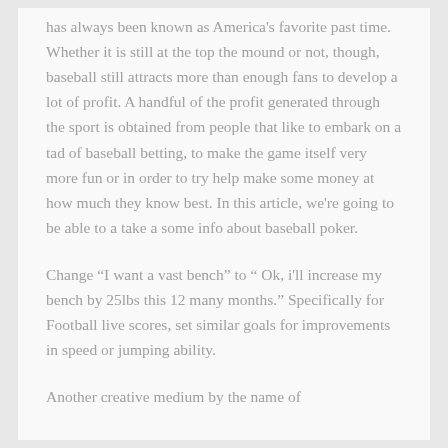has always been known as America's favorite past time. Whether it is still at the top the mound or not, though, baseball still attracts more than enough fans to develop a lot of profit. A handful of the profit generated through the sport is obtained from people that like to embark on a tad of baseball betting, to make the game itself very more fun or in order to try help make some money at how much they know best. In this article, we're going to be able to a take a some info about baseball poker.
Change “I want a vast bench” to “ Ok, i'll increase my bench by 25lbs this 12 many months.” Specifically for Football live scores, set similar goals for improvements in speed or jumping ability.
Another creative medium by the name of